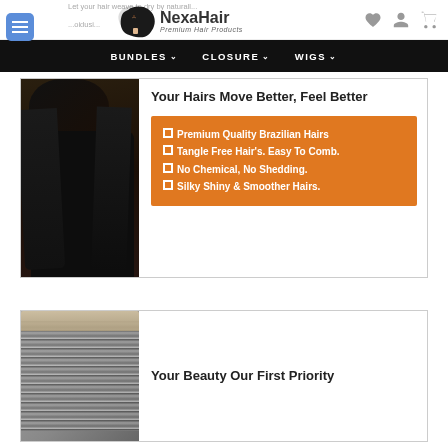NexaHair — Premium Hair Products
BUNDLES  CLOSURE  WIGS
[Figure (photo): Woman with long straight black hair extension, wearing a black shirt. Section banner with text: Your Hairs Move Better, Feel Better. Orange box listing: Premium Quality Brazilian Hairs, Tangle Free Hair's. Easy To Comb., No Chemical, No Shedding., Silky Shiny & Smoother Hairs.]
Your Hairs Move Better, Feel Better
Premium Quality Brazilian Hairs
Tangle Free Hair's. Easy To Comb.
No Chemical, No Shedding.
Silky Shiny & Smoother Hairs.
[Figure (photo): Hair closure/bundle product photo. Section with text: Your Beauty Our First Priority]
Your Beauty Our First Priority